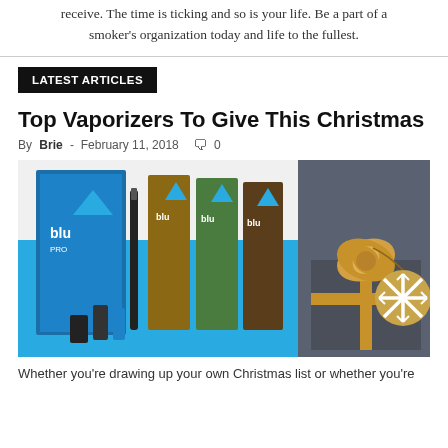receive. The time is ticking and so is your life. Be a part of a smoker's organization today and life to the fullest.
LATEST ARTICLES
Top Vaporizers To Give This Christmas
By Brie - February 11, 2018  🗨 0
[Figure (photo): Blu vaporizer product lineup showing blu PRO kit and several blu e-cigarette packs on the left, alongside a wrapped Christmas gift with a snowflake tag on the right.]
Whether you're drawing up your own Christmas list or whether you're